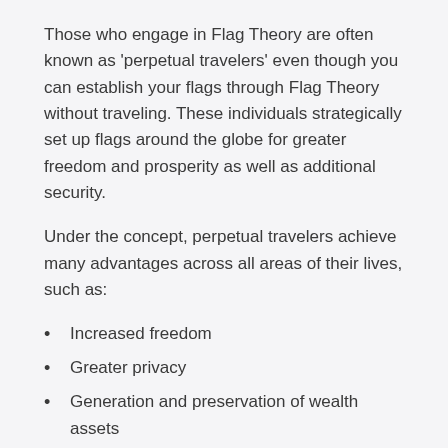Those who engage in Flag Theory are often known as 'perpetual travelers' even though you can establish your flags through Flag Theory without traveling. These individuals strategically set up flags around the globe for greater freedom and prosperity as well as additional security.
Under the concept, perpetual travelers achieve many advantages across all areas of their lives, such as:
Increased freedom
Greater privacy
Generation and preservation of wealth assets
More security and stability during uncertain geopolitical situations
Legal ways to lessen taxation
Peace of mind while living in a global playground